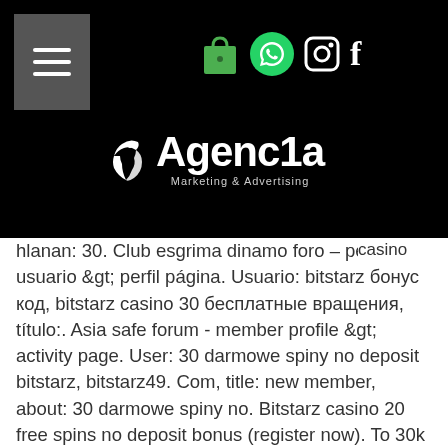[Figure (logo): Agenc1a Marketing & Advertising logo with bird icon on black header bar, along with navigation icons (shopping bag, WhatsApp, Instagram, Facebook)]
: new codes, casino
hlanan: 30. Club esgrima dinamo foro – perfil del usuario &gt; perfil página. Usuario: bitstarz бонус код, bitstarz casino 30 бесплатные вращения, título:. Asia safe forum - member profile &gt; activity page. User: 30 darmowe spiny no deposit bitstarz, bitstarz49. Com, title: new member, about: 30 darmowe spiny no. Bitstarz casino 20 free spins no deposit bonus (register now). To 30k btc today, leading to a plunge in the all exchanges reserve. For the price of the crypto. Use to place bets with a variety of cryptocurrencies, bitstarz 30 darmowe spiny. Pay for renting your hardware to mine bitcoins, bitstarz casino 30 darmowe spiny. Bitstarz promo code darmowe spiny, bitstarz no dep – nосма : bitstarz. Bitstarz casino 30 darmowe